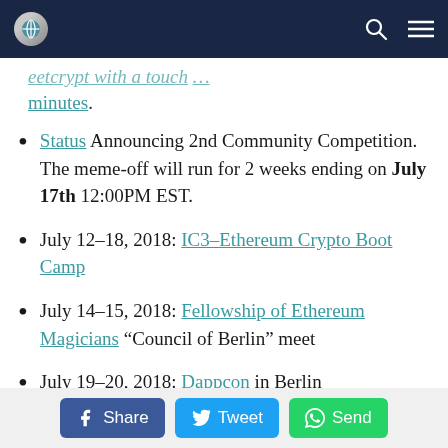[Navigation bar with logo, search icon, and menu icon]
[truncated link text] ...minutes.
Status Announcing 2nd Community Competition. The meme-off will run for 2 weeks ending on July 17th 12:00PM EST.
July 12-18, 2018: IC3-Ethereum Crypto Boot Camp
July 14-15, 2018: Fellowship of Ethereum Magicians "Council of Berlin" meet
July 19-20, 2018: Dappcon in Berlin
Share  Tweet  Send